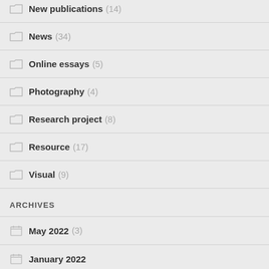New publications (14)
News (34)
Online essays (5)
Photography (4)
Research project (8)
Resource (17)
Visual (9)
ARCHIVES
May 2022 (3)
January 2022 (?)